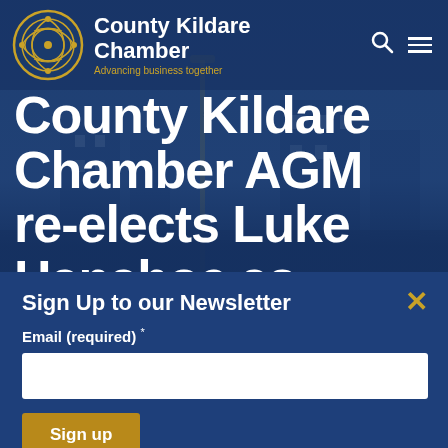[Figure (screenshot): County Kildare Chamber website screenshot showing the organization logo (circular gold Celtic-style design), header with 'County Kildare Chamber' text and 'Advancing business together' tagline, navigation icons (search and hamburger menu), and a dark blue background with a faint city/street scene.]
County Kildare Chamber AGM re-elects Luke Hanahoe as President
Sign Up to our Newsletter
Email (required) *
Sign up
By submitting this form you agree to our Privacy Policy